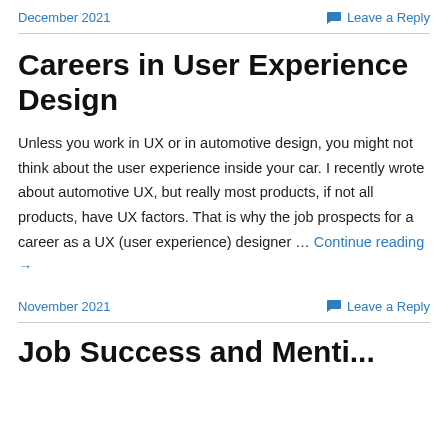December 2021
Leave a Reply
Careers in User Experience Design
Unless you work in UX or in automotive design, you might not think about the user experience inside your car. I recently wrote about automotive UX, but really most products, if not all products, have UX factors. That is why the job prospects for a career as a UX (user experience) designer … Continue reading →
November 2021
Leave a Reply